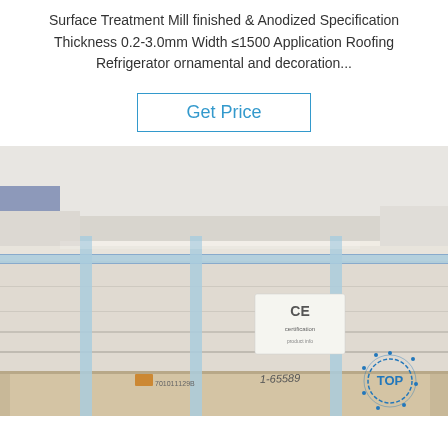Surface Treatment Mill finished & Anodized Specification Thickness 0.2-3.0mm Width ≤1500 Application Roofing Refrigerator ornamental and decoration...
Get Price
[Figure (photo): Packaged aluminum coil or sheet product wrapped in beige/cream protective material, strapped with blue plastic straps on a wooden pallet, with a CE label visible on the package. A person in a plaid jacket is partially visible in the background. A 'TOP' logo watermark appears in the lower right corner.]